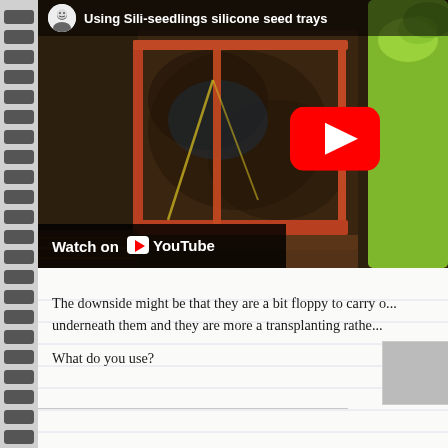[Figure (screenshot): YouTube video thumbnail showing 'Using Sili-seedlings silicone seed trays' with a channel avatar, video title overlay, a red YouTube play button, and a 'Watch on YouTube' bar at the bottom. The video shows a close-up of a plant tray with soil and a green watering bottle.]
The downside might be that they are a bit floppy to carry o... underneath them and they are more a transplanting rathe...
What do you use?